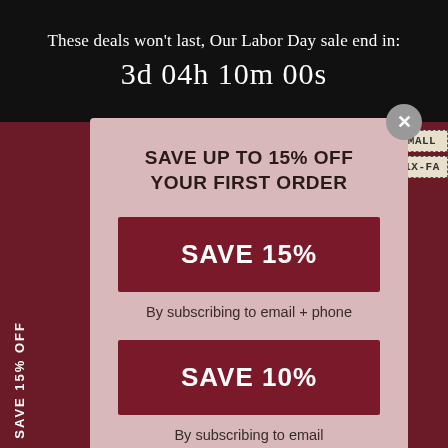These deals won't last, Our Labor Day sale end in:
3d 04h 10m 00s
SAVE UP TO 15% OFF YOUR FIRST ORDER
SAVE 15%
By subscribing to email + phone
SAVE 10%
By subscribing to email
SAVE 15% OFF